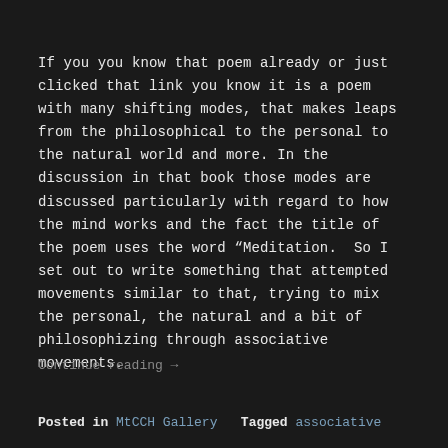If you you know that poem already or just clicked that link you know it is a poem with many shifting modes, that makes leaps from the philosophical to the personal to the natural world and more. In the discussion in that book those modes are discussed particularly with regard to how the mind works and the fact the title of the poem uses the word “Meditation.  So I set out to write something that attempted movements similar to that, trying to mix the personal, the natural and a bit of philosophizing through associative movements.
Continue reading →
Posted in MtCCH Gallery  Tagged associative